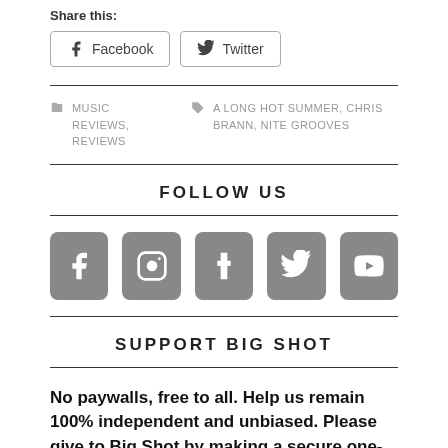Share this:
[Figure (other): Share buttons for Facebook and Twitter]
MUSIC REVIEWS, REVIEWS   A LONG HOT SUMMER, CHRIS BRANN, NITE GROOVES
FOLLOW US
[Figure (other): Social media icons: Facebook, Instagram, Tumblr, Twitter, YouTube]
SUPPORT BIG SHOT
No paywalls, free to all. Help us remain 100% independent and unbiased. Please give to Big Shot by making a secure one-time donation.